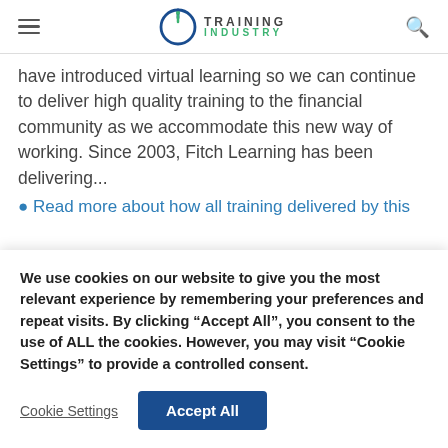Training Industry
have introduced virtual learning so we can continue to deliver high quality training to the financial community as we accommodate this new way of working. Since 2003, Fitch Learning has been delivering...
Read more about how all training delivered by this...
We use cookies on our website to give you the most relevant experience by remembering your preferences and repeat visits. By clicking “Accept All”, you consent to the use of ALL the cookies. However, you may visit “Cookie Settings” to provide a controlled consent.
Cookie Settings | Accept All